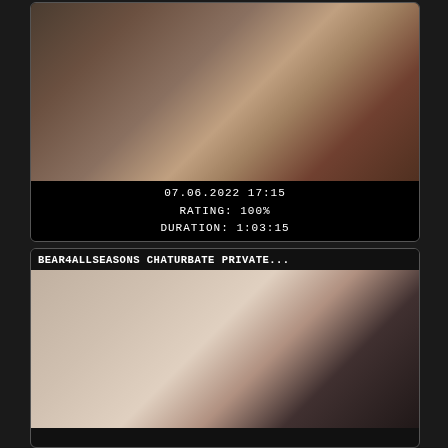[Figure (photo): Video thumbnail showing a person, with date/rating/duration overlay text: 07.06.2022 17:15, RATING: 100%, DURATION: 1:03:15]
07.06.2022 17:15
RATING: 100%
DURATION: 1:03:15
BEAR4ALLSEASONS CHATURBATE PRIVATE...
[Figure (photo): Video thumbnail showing a bearded person in a red shirt lying down, with bottles and dark clothing visible in the background]